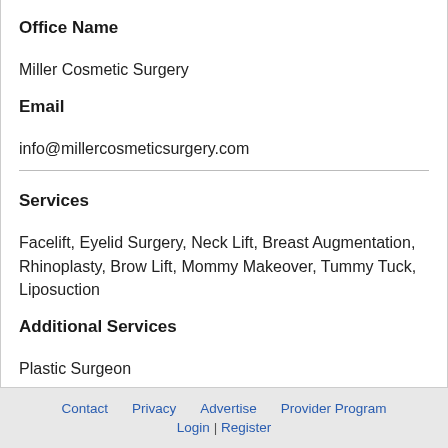Office Name
Miller Cosmetic Surgery
Email
info@millercosmeticsurgery.com
Services
Facelift, Eyelid Surgery, Neck Lift, Breast Augmentation, Rhinoplasty, Brow Lift, Mommy Makeover, Tummy Tuck, Liposuction
Additional Services
Plastic Surgeon
Consumer Feedback
No reviews yet.
Contact  Privacy  Advertise  Provider Program  Login | Register